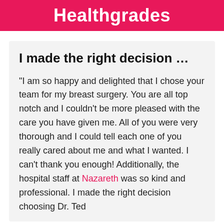Healthgrades
I made the right decision …
"I am so happy and delighted that I chose your team for my breast surgery. You are all top notch and I couldn't be more pleased with the care you have given me. All of you were very thorough and I could tell each one of you really cared about me and what I wanted. I can't thank you enough! Additionally, the hospital staff at Nazareth was so kind and professional. I made the right decision choosing Dr. Ted